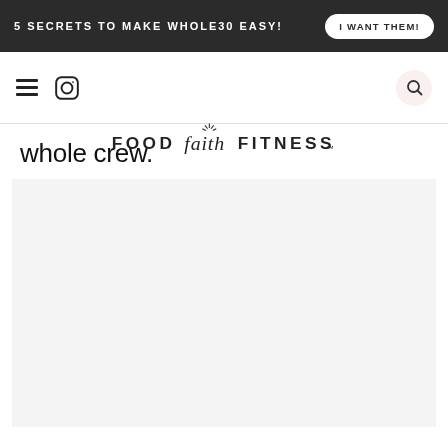5 SECRETS TO MAKE WHOLE30 EASY! | I WANT THEM!
[Figure (logo): Food Faith Fitness logo with hamburger menu, Instagram icon, and search button in navigation bar]
whole crew.
[Figure (photo): Large image placeholder with light gray background]